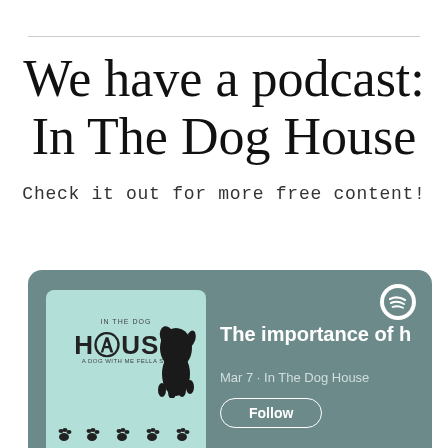We have a podcast: In The Dog House
Check it out for more free content!
[Figure (screenshot): Spotify podcast card for 'In The Dog House' showing album art with a dog silhouette, paw prints, and the text 'The importance of h', 'Mar 7 · In The Dog House', and a Follow button with Spotify logo.]